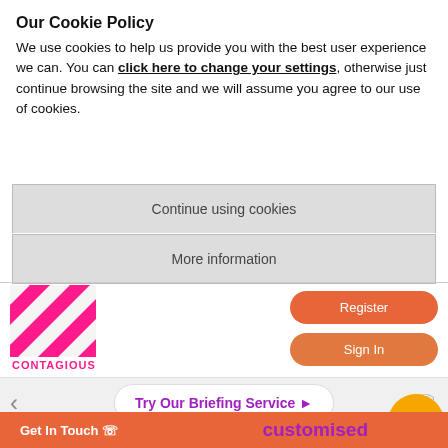Our Cookie Policy
We use cookies to help us provide you with the best user experience we can. You can click here to change your settings, otherwise just continue browsing the site and we will assume you agree to our use of cookies.
Continue using cookies
More information
[Figure (logo): Contagious logo: pink/magenta diagonal stripe square with CONTAGIOUS text below in pink]
Register
Sign In
Try Our Briefing Service
This idea is archived
customised
Get In Touch